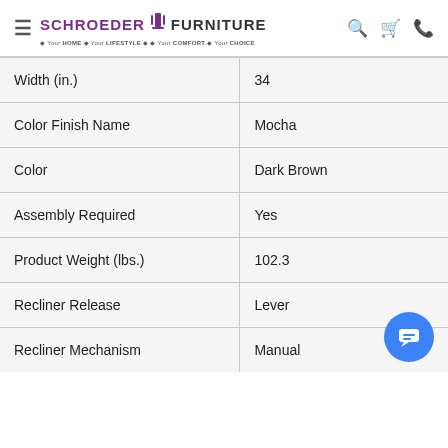Schroeder Furniture - Your HOME · Your LIFESTYLE · Your COMFORT · Your CHOICE
| Attribute | Value |
| --- | --- |
| Width (in.) | 34 |
| Color Finish Name | Mocha |
| Color | Dark Brown |
| Assembly Required | Yes |
| Product Weight (lbs.) | 102.3 |
| Recliner Release | Lever |
| Recliner Mechanism | Manual |